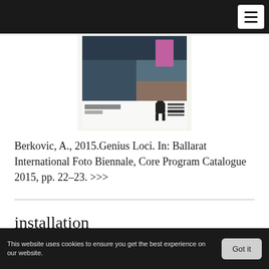[Figure (photo): Screenshot of a website showing a catalog cover image for Ballarat International Foto Biennale 2015, with a partially visible photograph and a small robot/Bearbrick figure on the cover.]
Berkovic, A., 2015.Genius Loci. In: Ballarat International Foto Biennale, Core Program Catalogue 2015, pp. 22–23. >>>
installation
[Figure (photo): Partially visible photograph at bottom of page showing a blond man peering over something, with green and grey background elements.]
This website uses cookies to ensure you get the best experience on our website.